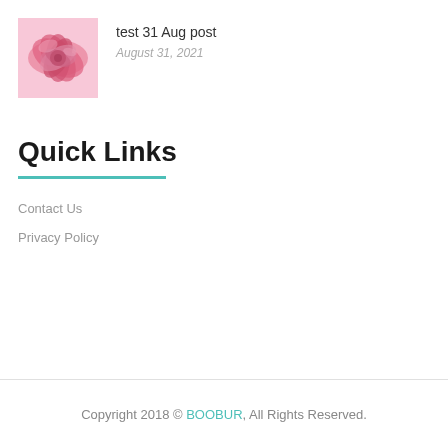[Figure (illustration): Pink swirl rose pattern thumbnail image]
test 31 Aug post
August 31, 2021
Quick Links
Contact Us
Privacy Policy
Copyright 2018 © BOOBUR, All Rights Reserved.